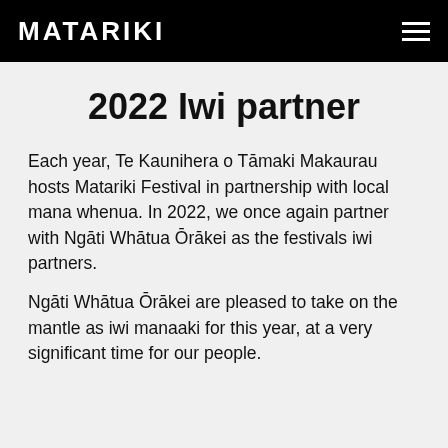MATARIKI
2022 Iwi partner
Each year, Te Kaunihera o Tāmaki Makaurau hosts Matariki Festival in partnership with local mana whenua. In 2022, we once again partner with Ngāti Whātua Ōrākei as the festivals iwi partners.
Ngāti Whātua Ōrākei are pleased to take on the mantle as iwi manaaki for this year, at a very significant time for our people.